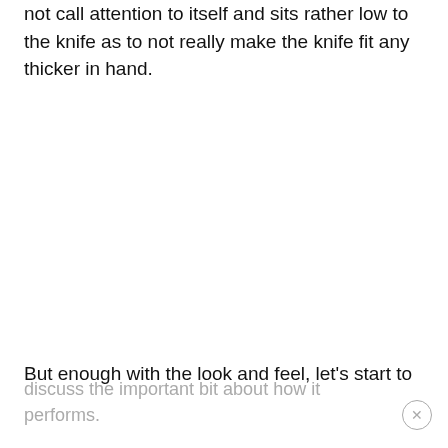not call attention to itself and sits rather low to the knife as to not really make the knife fit any thicker in hand.
But enough with the look and feel, let's start to
discuss the important bit about how it performs.